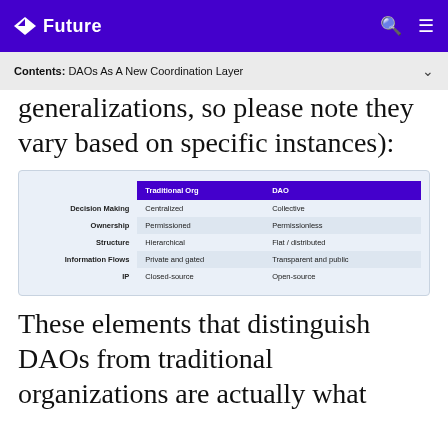Future
Contents: DAOs As A New Coordination Layer
generalizations, so please note they vary based on specific instances):
|  | Traditional Org | DAO |
| --- | --- | --- |
| Decision Making | Centralized | Collective |
| Ownership | Permissioned | Permissionless |
| Structure | Hierarchical | Flat / distributed |
| Information Flows | Private and gated | Transparent and public |
| IP | Closed-source | Open-source |
These elements that distinguish DAOs from traditional organizations are actually what